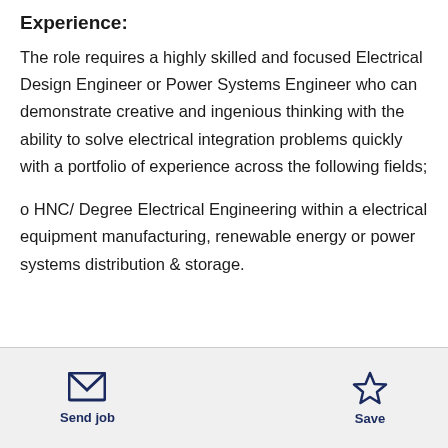Experience:
The role requires a highly skilled and focused Electrical Design Engineer or Power Systems Engineer who can demonstrate creative and ingenious thinking with the ability to solve electrical integration problems quickly with a portfolio of experience across the following fields;
o HNC/ Degree Electrical Engineering within a electrical equipment manufacturing, renewable energy or power systems distribution & storage.
Send job  Save